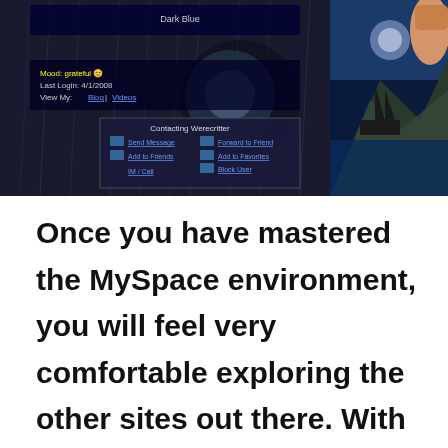[Figure (screenshot): Screenshot of a MySpace profile page with dark rainy background theme and a mermaid/fantasy image on the right side. Shows profile interface elements including 'Mood: grateful', 'Last Login: 4/1/2008', 'View My:', and a 'Contacting Werecritter' contact box.]
Once you have mastered the MySpace environment, you will feel very comfortable exploring the other sites out there. With the 221,000,000 + member sites, the layout choices, music, 43,000,000 + groups, 22 major forum topics with numerous minor topics, multi